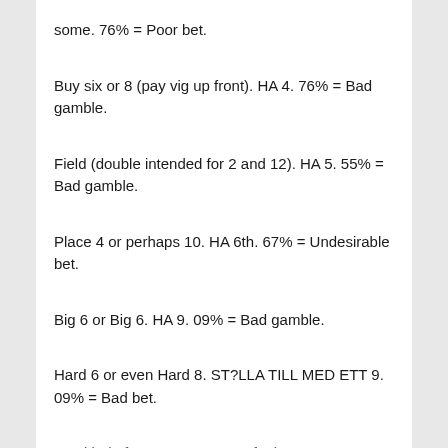some. 76% = Poor bet.
Buy six or 8 (pay vig up front). HA 4. 76% = Bad gamble.
Field (double intended for 2 and 12). HA 5. 55% = Bad gamble.
Place 4 or perhaps 10. HA 6th. 67% = Undesirable bet.
Big 6 or Big 6. HA 9. 09% = Bad gamble.
Hard 6 or even Hard 8. ST?LLA TILL MED ETT 9. 09% = Bad bet.
Any kind of C... HA ...% = A... f... b...